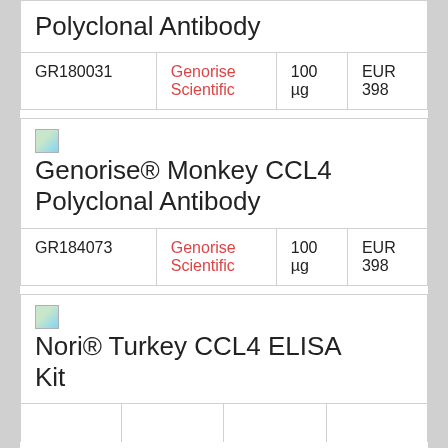Polyclonal Antibody
| ID | Vendor | Amount | Price |
| --- | --- | --- | --- |
| GR180031 | Genorise Scientific | 100 µg | EUR 398 |
[Figure (illustration): Small product image placeholder icon (green/blue gradient)]
Genorise® Monkey CCL4 Polyclonal Antibody
| ID | Vendor | Amount | Price |
| --- | --- | --- | --- |
| GR184073 | Genorise Scientific | 100 µg | EUR 398 |
[Figure (illustration): Small product image placeholder icon (green/blue gradient)]
Nori® Turkey CCL4 ELISA Kit